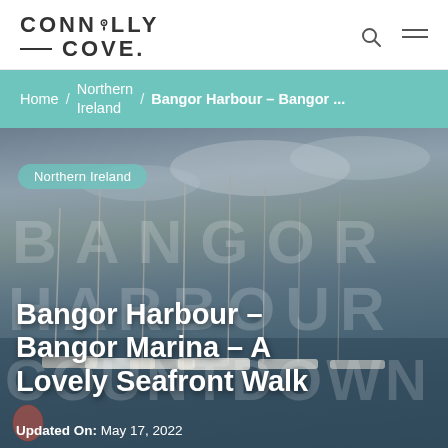CONNOLLY COVE.
Home / Northern Ireland / Bangor Harbour – Bangor ...
[Figure (photo): Aerial/harbour view of Bangor Marina with sailboats moored, cloudy sky overhead, large letter art spelling out BANGOR HARBOUR COUNTDOWN in the background]
Northern Ireland
Bangor Harbour – Bangor Marina – A Lovely Seafront Walk
Updated On: May 17, 2022